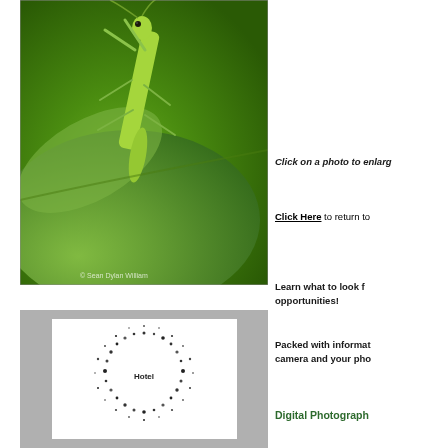[Figure (photo): Close-up macro photograph of a green praying mantis on a green leaf, with copyright watermark '© Sean Dylan William' at bottom right]
Click on a photo to enlarge
Click Here to return to
Learn what to look for opportunities!
Packed with information camera and your photo
[Figure (illustration): Circular dot/noise ring pattern with 'Hotel' text at the bottom inside a white oval on a gray background]
Digital Photography